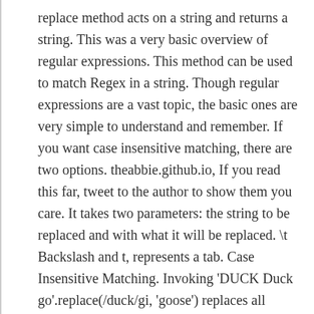replace method acts on a string and returns a string. This was a very basic overview of regular expressions. This method can be used to match Regex in a string. Though regular expressions are a vast topic, the basic ones are very simple to understand and remember. If you want case insensitive matching, there are two options. theabbie.github.io, If you read this far, tweet to the author to show them you care. It takes two parameters: the string to be replaced and with what it will be replaced. \t Backslash and t, represents a tab. Case Insensitive Matching. Invoking 'DUCK Duck go'.replace(/duck/gi, 'goose') replaces all matches of /duck/gi substrings with 'goose'.. 2.1 Regular expression from a string. You could replace some long validation logic like this: Though that regular expression looks scary, it's not something you have